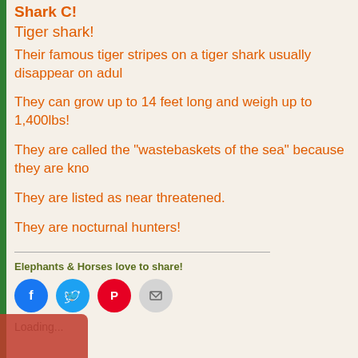Shark C!
Tiger shark!
Their famous tiger stripes on a tiger shark usually disappear on adul…
They can grow up to 14 feet long and weigh up to 1,400lbs!
They are called the "wastebaskets of the sea" because they are kno…
They are listed as near threatened.
They are nocturnal hunters!
Elephants & Horses love to share!
[Figure (infographic): Social sharing icons: Facebook (blue circle), Twitter (light blue circle), Pinterest (red circle), Email (gray circle)]
Loading...